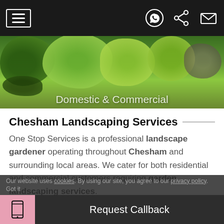Navigation bar with hamburger menu, WhatsApp, share, and email icons
[Figure (photo): Hero image of garden landscaping with green shrubs, plants and rocks. Text overlay: 'Domestic & Commercial']
Chesham Landscaping Services
One Stop Services is a professional landscape gardener operating throughout Chesham and surrounding local areas. We cater for both residential and commercial customers requiring garden landscaping services.
Fencing Installation Chesham
Our website uses cookies. By using our site, you agree to our privacy policy. Got it | Request Callback